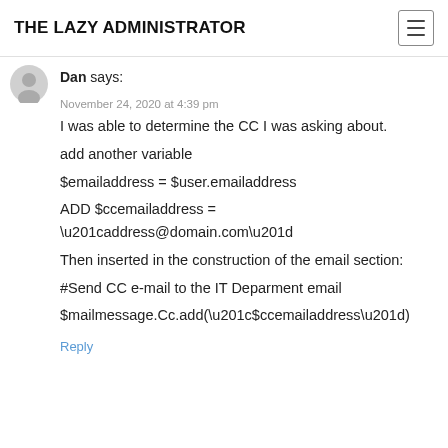THE LAZY ADMINISTRATOR
Dan says:
November 24, 2020 at 4:39 pm
I was able to determine the CC I was asking about.
add another variable
$emailaddress = $user.emailaddress
ADD $ccemailaddress =
“address@domain.com”
Then inserted in the construction of the email section:
#Send CC e-mail to the IT Deparment email
$mailmessage.Cc.add(“$ccemailaddress”)
Reply